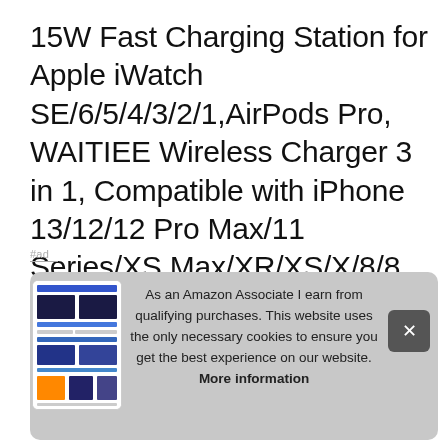15W Fast Charging Station for Apple iWatch SE/6/5/4/3/2/1,AirPods Pro, WAITIEE Wireless Charger 3 in 1, Compatible with iPhone 13/12/12 Pro Max/11 Series/XS Max/XR/XS/X/8/8 Plus/Samsung Galaxy Black
#ad
[Figure (photo): Small thumbnail image of a product listing showing a wireless charging station with multiple device images]
As an Amazon Associate I earn from qualifying purchases. This website uses the only necessary cookies to ensure you get the best experience on our website. More information